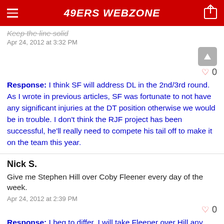49ERS WEBZONE
Keep the line solid
Apr 24, 2012 at 3:32 PM
0
Response: I think SF will address DL in the 2nd/3rd round. As I wrote in previous articles, SF was fortunate to not have any significant injuries at the DT position otherwise we would be in trouble. I don't think the RJF project has been successful, he'll really need to compete his tail off to make it on the team this year.
Nick S.
Give me Stephen Hill over Coby Fleener every day of the week.
Apr 24, 2012 at 2:39 PM
0
Response: I beg to differ. I will take Fleener over Hill any day. Heck, I would take Ted Ginn over Hill any day, at least with Ginn you are guaranteed 2 return for TDs every time you play the Seahawks.